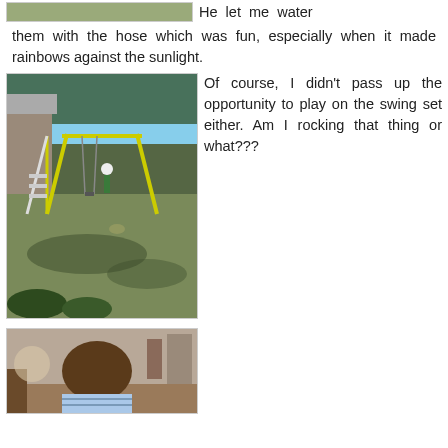[Figure (photo): Partial photo at top of page, cropped, showing outdoor scene with children]
He let me water them with the hose which was fun, especially when it made rainbows against the sunlight.
[Figure (photo): Backyard playground with a swing set and slide, trees and house in background, dappled sunlight]
Of course, I didn't pass up the opportunity to play on the swing set either. Am I rocking that thing or what???
[Figure (photo): Child with curly hair seen from behind, sitting at a table indoors]